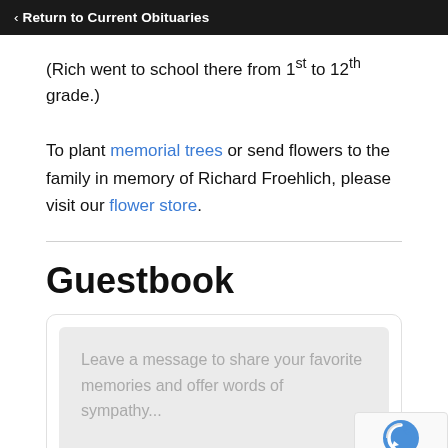< Return to Current Obituaries
(Rich went to school there from 1st to 12th grade.)
To plant memorial trees or send flowers to the family in memory of Richard Froehlich, please visit our flower store.
Guestbook
Leave a message to share your favorite memories and offer words of sympathy...